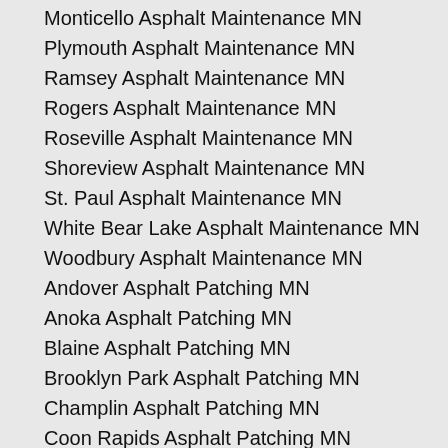Monticello Asphalt Maintenance MN
Plymouth Asphalt Maintenance MN
Ramsey Asphalt Maintenance MN
Rogers Asphalt Maintenance MN
Roseville Asphalt Maintenance MN
Shoreview Asphalt Maintenance MN
St. Paul Asphalt Maintenance MN
White Bear Lake Asphalt Maintenance MN
Woodbury Asphalt Maintenance MN
Andover Asphalt Patching MN
Anoka Asphalt Patching MN
Blaine Asphalt Patching MN
Brooklyn Park Asphalt Patching MN
Champlin Asphalt Patching MN
Coon Rapids Asphalt Patching MN
East Bethel Asphalt Patching MN
Elk River Asphalt Patching MN